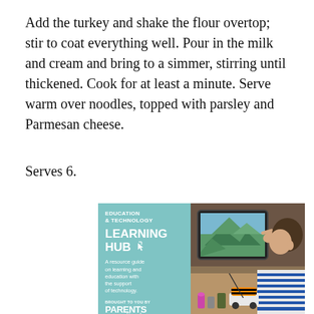Add the turkey and shake the flour overtop; stir to coat everything well. Pour in the milk and cream and bring to a simmer, stirring until thickened. Cook for at least a minute. Serve warm over noodles, topped with parsley and Parmesan cheese.
Serves 6.
[Figure (photo): Advertisement for 'Education & Technology Learning Hub' featuring a child using a tablet, brought to you by Parents Canada and Microsoft.]